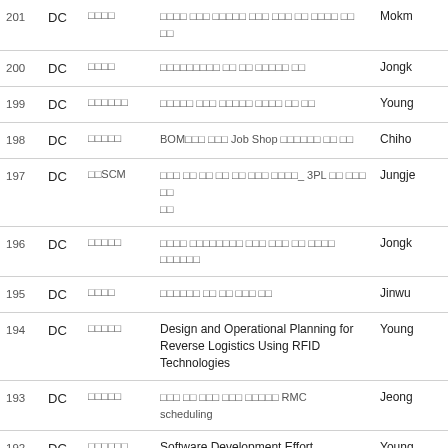| No. | Type | Category | Title | Author |
| --- | --- | --- | --- | --- |
| 201 | DC | □□□□ | □□□□ □□□ □□□□□ □□□ □□□ □□ □□□□ □□ □□ | Mokm… |
| 200 | DC | □□□□ | □□□□□□□□□ □□ □□ □□□□□ □□ | Jongk… |
| 199 | DC | □□□□□□ | □□□□□ □□□ □□□□□ □□□□ □□ □□ | Young… |
| 198 | DC | □□□□□ | BOM□□□ □□□ Job Shop □□□□□□ □□ □□ | Chiho… |
| 197 | DC | □□SCM | □□□ □□ □□ □□ □□ □□□ □□□□_ 3PL □□ □□□ □□ □□ | Jungje… |
| 196 | DC | □□□□□ | □□□□ □□□□□□□□ □□□ □□□ □□ □□□□ □□□□□□ | Jongk… |
| 195 | DC | □□□□ | □□□□□□ □□ □□ □□□ □□ | Jinwu… |
| 194 | DC | □□□□□ | Design and Operational Planning for Reverse Logistics Using RFID Technologies | Young… |
| 193 | DC | □□□□□ | □□□ □□ □□□ □□□ □□□□□ RMC scheduling | Jeong… |
| 192 | DC | □□□□□□ | Software Development Effort Estimation Considering Complexity Using Radial Basis Function Network | Young… |